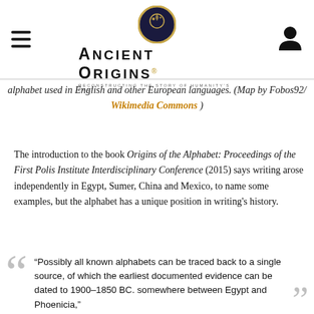Ancient Origins — Reconstructing the story of humanity's past
alphabet used in English and other European languages. (Map by Fobos92/ Wikimedia Commons )
The introduction to the book Origins of the Alphabet: Proceedings of the First Polis Institute Interdisciplinary Conference (2015) says writing arose independently in Egypt, Sumer, China and Mexico, to name some examples, but the alphabet has a unique position in writing's history.
“Possibly all known alphabets can be traced back to a single source, of which the earliest documented evidence can be dated to 1900–1850 BC. somewhere between Egypt and Phoenicia,”